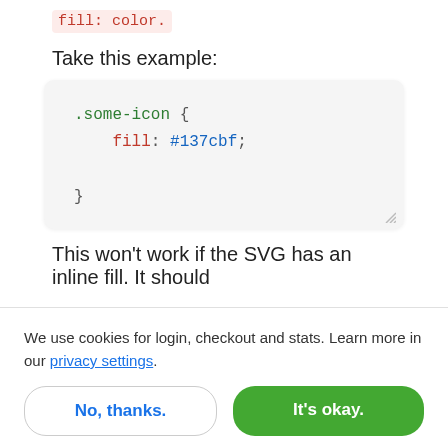fill: color.
Take this example:
[Figure (screenshot): Code block showing CSS: .some-icon { fill: #137cbf; }]
This won't work if the SVG has an inline fill. It should
We use cookies for login, checkout and stats. Learn more in our privacy settings.
No, thanks.
It's okay.